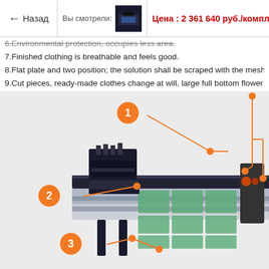← Назад | Вы смотрели: [thumbnail] Цена : 2 361 640 руб./комплект
6.Environmental protection, occupies less area.
7.Finished clothing is breathable and feels good.
8.Flat plate and two position; the solution shall be scraped with the mesh plate, mo...
9.Cut pieces, ready-made clothes change at will, large full bottom flower place can...
[Figure (engineering-diagram): Industrial flat-screen printing machine with orange numbered callout labels (1, 2, 3) and orange dot markers with connector lines pointing to machine components including print head assembly (1), carriage/rail mechanism (2), and base frame/legs (3). Multiple green printing plates visible on the machine bed.]